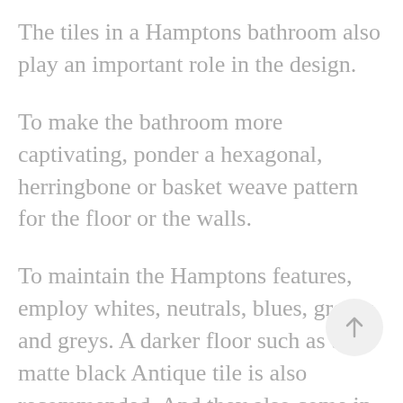The tiles in a Hamptons bathroom also play an important role in the design.
To make the bathroom more captivating, ponder a hexagonal, herringbone or basket weave pattern for the floor or the walls.
To maintain the Hamptons features, employ whites, neutrals, blues, greens and greys. A darker floor such as the matte black Antique tile is also recommended, And they also come in lighter colours if you would like to go for a
[Figure (other): A circular scroll-to-top button with an upward arrow icon, light grey fill with grey arrow]